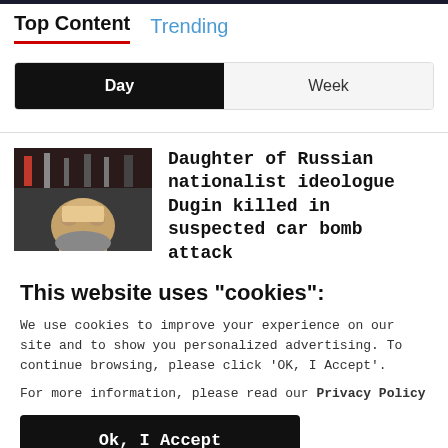Top Content   Trending
Day   Week
[Figure (photo): Thumbnail image of a woman, appears to be in a dark industrial setting]
Daughter of Russian nationalist ideologue Dugin killed in suspected car bomb attack
This website uses "cookies":
We use cookies to improve your experience on our site and to show you personalized advertising. To continue browsing, please click 'OK, I Accept'.
For more information, please read our Privacy Policy
Ok, I Accept